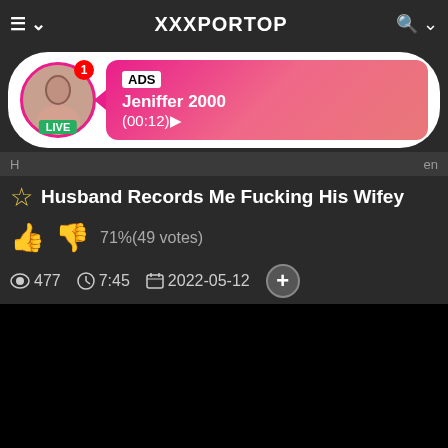XXXPORTOP
[Figure (screenshot): Ad banner with avatar photo of a woman with LIVE badge, pink gradient background, ADS label, name Jeniffer 2000, timer (00:12)]
Husband Records Me Fucking His Wifey
71%(49 votes)
477  7:45  2022-05-12
[Figure (photo): Black video player area]